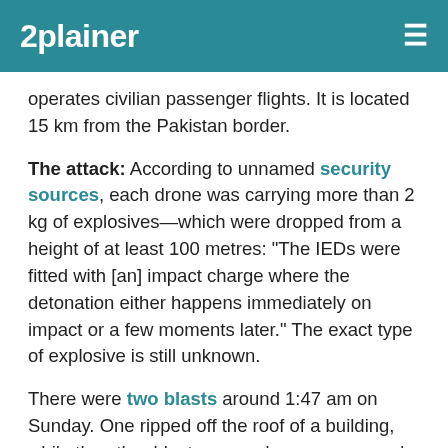2plainer
operates civilian passenger flights. It is located 15 km from the Pakistan border.
The attack: According to unnamed security sources, each drone was carrying more than 2 kg of explosives—which were dropped from a height of at least 100 metres: “The IEDs were fitted with [an] impact charge where the detonation either happens immediately on impact or a few moments later.” The exact type of explosive is still unknown.
There were two blasts around 1:47 am on Sunday. One ripped off the roof of a building, while the other blast occurred on open ground. According to one source, no remains of the drones were found at the